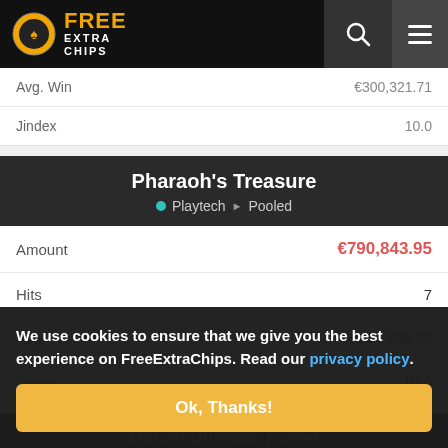FREE EXTRA CHIPS
|  |  |
| --- | --- |
| Avg. Win | €300,321.71 |
| Jindex | 10.0 |
Pharaoh's Treasure · Playtech · Pooled
|  |  |
| --- | --- |
| Amount | €790,843.95 |
| Hits | 7 |
| Avg. Win | €744,739.32 |
| Jindex | 10.0 |
Marvel Ultimate Power
|  |  |
| --- | --- |
| Amount |  |
| Hits |  |
We use cookies to ensure that we give you the best experience on FreeExtraChips. Read our privacy policy.
Ok, Thanks!